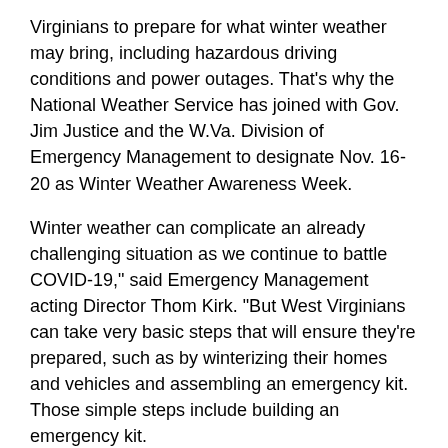Virginians to prepare for what winter weather may bring, including hazardous driving conditions and power outages. That's why the National Weather Service has joined with Gov. Jim Justice and the W.Va. Division of Emergency Management to designate Nov. 16-20 as Winter Weather Awareness Week.
Winter weather can complicate an already challenging situation as we continue to battle COVID-19," said Emergency Management acting Director Thom Kirk. "But West Virginians can take very basic steps that will ensure they're prepared, such as by winterizing their homes and vehicles and assembling an emergency kit. Those simple steps include building an emergency kit.
It should have a three-day supply of food, water and medicine as well as other essential supplies your family will need in